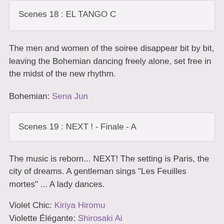Scenes 18 : EL TANGO C
The men and women of the soiree disappear bit by bit, leaving the Bohemian dancing freely alone, set free in the midst of the new rhythm.
Bohemian: Sena Jun
Scenes 19 : NEXT ! - Finale - A
The music is reborn... NEXT! The setting is Paris, the city of dreams. A gentleman sings "Les Feuilles mortes" ... A lady dances.
Violet Chic: Kiriya Hiromu
Violette Élégante: Shirosaki Ai